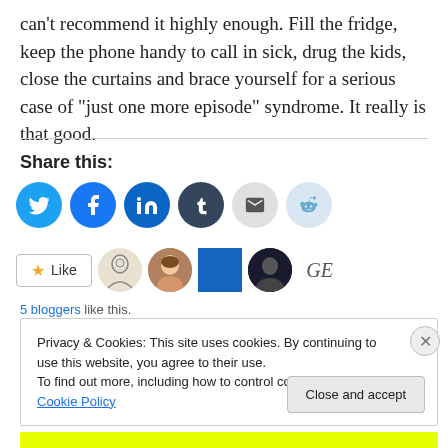can't recommend it highly enough. Fill the fridge, keep the phone handy to call in sick, drug the kids, close the curtains and brace yourself for a serious case of “just one more episode” syndrome. It really is that good.
Share this:
[Figure (infographic): Row of social share icon buttons: Twitter (blue), Facebook (blue), LinkedIn (dark blue), Tumblr (dark), Email (grey), Reddit (light blue)]
[Figure (infographic): WordPress Like button with star icon, followed by 5 blogger avatars]
5 bloggers like this.
Privacy & Cookies: This site uses cookies. By continuing to use this website, you agree to their use. To find out more, including how to control cookies, see here: Cookie Policy
Close and accept